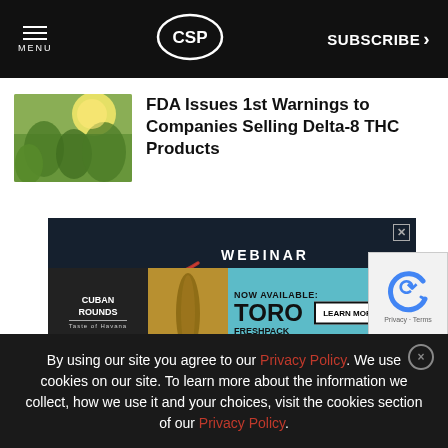MENU | CSP | SUBSCRIBE >
FDA Issues 1st Warnings to Companies Selling Delta-8 THC Products
[Figure (photo): Thumbnail photo of green plants/cannabis in sunlight]
[Figure (screenshot): Advertisement banner: WEBINAR Build a To-Go Experience / NOW AVAILABLE: TORO FRESHPACK LEARN MORE / Cuban Rounds]
By using our site you agree to our Privacy Policy. We use cookies on our site. To learn more about the information we collect, how we use it and your choices, visit the cookies section of our Privacy Policy.